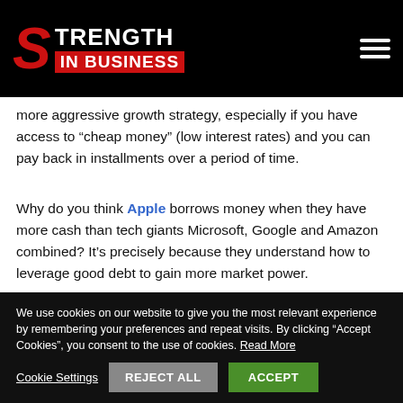STRENGTH IN BUSINESS
more aggressive growth strategy, especially if you have access to “cheap money” (low interest rates) and you can pay back in installments over a period of time.
Why do you think Apple borrows money when they have more cash than tech giants Microsoft, Google and Amazon combined? It’s precisely because they understand how to leverage good debt to gain more market power.
We use cookies on our website to give you the most relevant experience by remembering your preferences and repeat visits. By clicking “Accept Cookies”, you consent to the use of cookies. Read More
Cookie Settings | REJECT ALL | ACCEPT